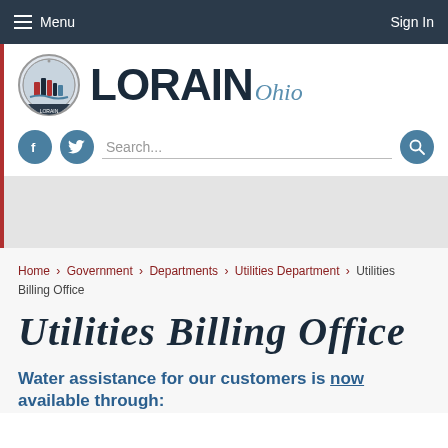Menu   Sign In
[Figure (logo): Lorain Ohio city seal and wordmark logo with circular city seal on left and LORAIN Ohio text on right]
[Figure (screenshot): Social media buttons (Facebook, Twitter) and search bar with search icon button]
Home › Government › Departments › Utilities Department › Utilities Billing Office
Utilities Billing Office
Water assistance for our customers is now available through: